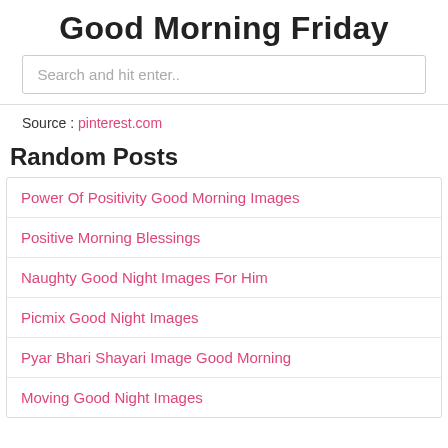Good Morning Friday
Search and hit enter..
Source : pinterest.com
Random Posts
Power Of Positivity Good Morning Images
Positive Morning Blessings
Naughty Good Night Images For Him
Picmix Good Night Images
Pyar Bhari Shayari Image Good Morning
Moving Good Night Images